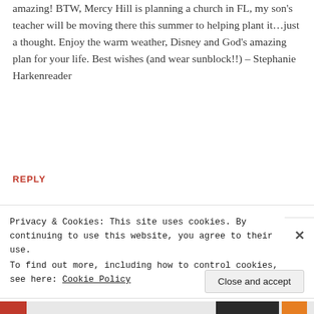amazing! BTW, Mercy Hill is planning a church in FL, my son's teacher will be moving there this summer to helping plant it…just a thought. Enjoy the warm weather, Disney and God's amazing plan for your life. Best wishes (and wear sunblock!!) – Stephanie Harkenreader
REPLY
Leave a Reply to Stephanie…
Privacy & Cookies: This site uses cookies. By continuing to use this website, you agree to their use.
To find out more, including how to control cookies, see here: Cookie Policy